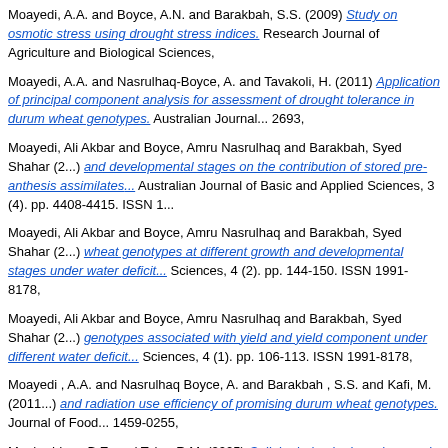Moayedi, A.A. and Boyce, A.N. and Barakbah, S.S. (2009) Study on osmotic stress using drought stress indices. Research Journal of Agriculture and Biological Sciences,
Moayedi, A.A. and Nasrulhaq-Boyce, A. and Tavakoli, H. (2011) Application of principal component analysis for assessment of drought tolerance in durum wheat genotypes. Australian Journal... 2693,
Moayedi, Ali Akbar and Boyce, Amru Nasrulhaq and Barakbah, Syed Shahar (2...) and developmental stages on the contribution of stored pre-anthesis assimilates... Australian Journal of Basic and Applied Sciences, 3 (4). pp. 4408-4415. ISSN 1...
Moayedi, Ali Akbar and Boyce, Amru Nasrulhaq and Barakbah, Syed Shahar (2...) wheat genotypes at different growth and developmental stages under water deficit... Sciences, 4 (2). pp. 144-150. ISSN 1991-8178,
Moayedi, Ali Akbar and Boyce, Amru Nasrulhaq and Barakbah, Syed Shahar (2...) genotypes associated with yield and yield component under different water deficit... Sciences, 4 (1). pp. 106-113. ISSN 1991-8178,
Moayedi , A.A. and Nasrulhaq Boyce, A. and Barakbah , S.S. and Kafi, M. (2011...) and radiation use efficiency of promising durum wheat genotypes. Journal of Food... 1459-0255,
Moghaddam, B.E. and Taha, R.M. (2005) Cellular behavior in embryogenic and... and Developmental Biology - Plant, 41 (4). pp. 465-469. ISSN 1054-5476,
Mohajer, S. and Dastenai, M.V. and Taha, R.M. (2011) Forage quality of foxtail millet at different stages in Karaj region, Iran. Journal of Food Agriculture & Environment, 9 (2). p...
Mohajer, S. and Jafari, A.A. and Taha, R.M. (2011) Studies on seed and forage yield of sainfoin grown as spaced plants and swards. Journal of Food Agriculture & Environment...